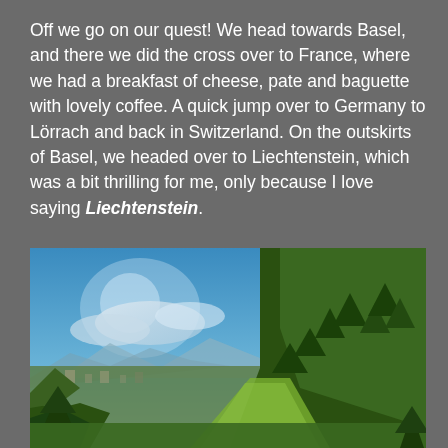Off we go on our quest! We head towards Basel, and there we did the cross over to France, where we had a breakfast of cheese, pate and baguette with lovely coffee. A quick jump over to Germany to Lörrach and back in Switzerland. On the outskirts of Basel, we headed over to Liechtenstein, which was a bit thrilling for me, only because I love saying Liechtenstein.
[Figure (photo): Landscape photograph showing a scenic view of Liechtenstein with green hills, trees, a valley with buildings, and a blue sky with light clouds.]